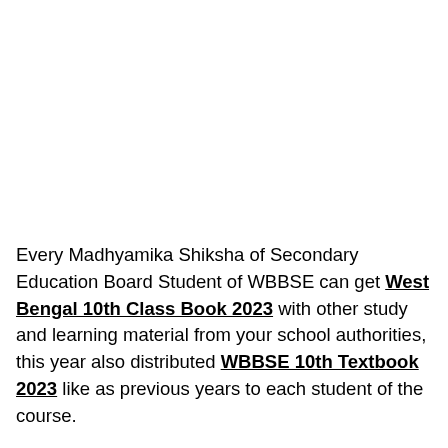Every Madhyamika Shiksha of Secondary Education Board Student of WBBSE can get West Bengal 10th Class Book 2023 with other study and learning material from your school authorities, this year also distributed WBBSE 10th Textbook 2023 like as previous years to each student of the course.